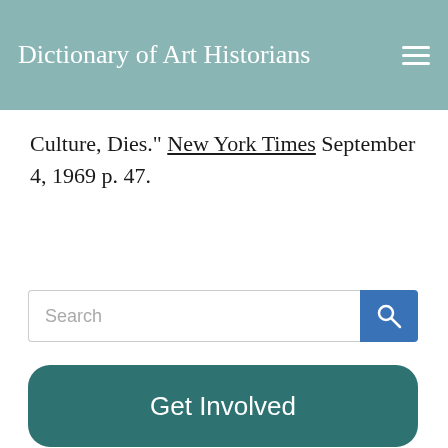Dictionary of Art Historians
Culture, Dies." New York Times September 4, 1969 p. 47.
Search
Get Involved